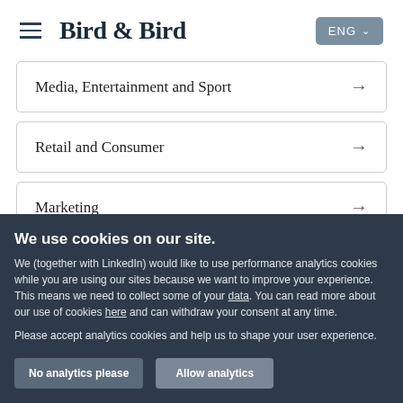Bird & Bird  ENG
Media, Entertainment and Sport →
Retail and Consumer →
Marketing →
We use cookies on our site.
We (together with LinkedIn) would like to use performance analytics cookies while you are using our sites because we want to improve your experience. This means we need to collect some of your data. You can read more about our use of cookies here and can withdraw your consent at any time.
Please accept analytics cookies and help us to shape your user experience.
No analytics please  |  Allow analytics